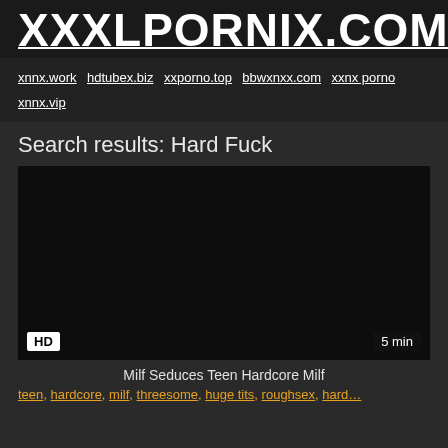XXXLPORNIX.COM
xnnx.work hdtubex.biz xxporno.top bbwxnxx.com xxnx porno xnnx.vip
Search results: Hard Fuck
[Figure (screenshot): Dark video thumbnail with HD badge at bottom left and 5 min duration at bottom right]
Milf Seduces Teen Hardcore Milf
teen, hardcore, milf, threesome, huge tits, roughsex, hard...